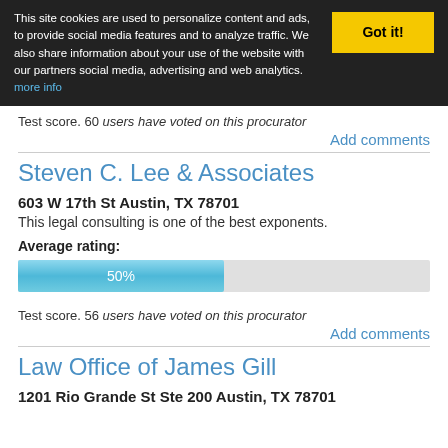This site cookies are used to personalize content and ads, to provide social media features and to analyze traffic. We also share information about your use of the website with our partners social media, advertising and web analytics. more info
Test score. 60 users have voted on this procurator
Add comments
Steven C. Lee & Associates
603 W 17th St Austin, TX 78701
This legal consulting is one of the best exponents.
Average rating:
[Figure (bar-chart): Average rating bar]
Test score. 56 users have voted on this procurator
Add comments
Law Office of James Gill
1201 Rio Grande St Ste 200 Austin, TX 78701